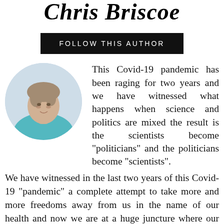Chris Briscoe
FOLLOW THIS AUTHOR
[Figure (photo): Circular profile photo of Chris Briscoe, a person wearing a teal/blue top, looking slightly to the side, with a light background.]
This Covid-19 pandemic has been raging for two years and we have witnessed what happens when science and politics are mixed the result is the scientists become "politicians" and the politicians become "scientists". We have witnessed in the last two years of this Covid-19 "pandemic" a complete attempt to take more and more freedoms away from us in the name of our health and now we are at a huge juncture where our Governments are trying to force everyone to take a vaccine. If